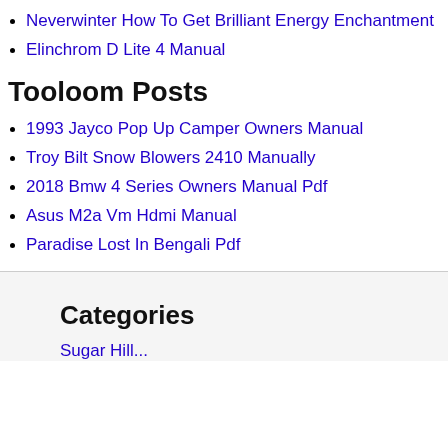Neverwinter How To Get Brilliant Energy Enchantment
Elinchrom D Lite 4 Manual
Tooloom Posts
1993 Jayco Pop Up Camper Owners Manual
Troy Bilt Snow Blowers 2410 Manually
2018 Bmw 4 Series Owners Manual Pdf
Asus M2a Vm Hdmi Manual
Paradise Lost In Bengali Pdf
Categories
Sugar Hill...